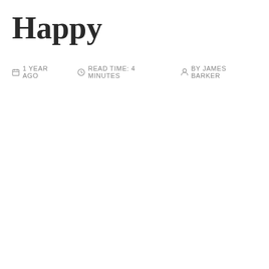Happy
1 YEAR AGO   READ TIME: 4 MINUTES   BY JAMES BARKER